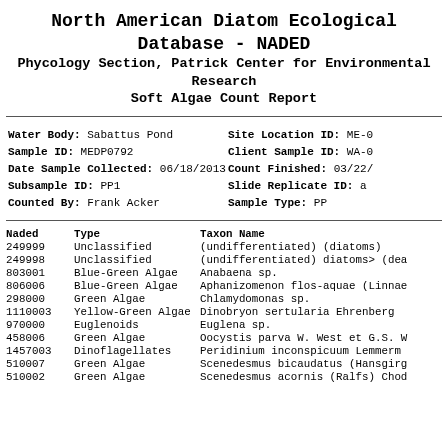North American Diatom Ecological Database - NADED
Phycology Section, Patrick Center for Environmental Research
Soft Algae Count Report
Water Body: Sabattus Pond
Sample ID: MEDP0792
Date Sample Collected: 06/18/2013
Subsample ID: PP1
Counted By: Frank Acker
Site Location ID: ME-0
Client Sample ID: WA-0
Count Finished: 03/22/
Slide Replicate ID: a
Sample Type: PP
| Naded | Type | Taxon Name |
| --- | --- | --- |
| 249999 | Unclassified | (undifferentiated) (diatoms) |
| 249998 | Unclassified | (undifferentiated) diatoms> (dea |
| 803001 | Blue-Green Algae | Anabaena sp. |
| 806006 | Blue-Green Algae | Aphanizomenon flos-aquae (Linnae |
| 298000 | Green Algae | Chlamydomonas sp. |
| 1110003 | Yellow-Green Algae | Dinobryon sertularia Ehrenberg |
| 970000 | Euglenoids | Euglena sp. |
| 458006 | Green Algae | Oocystis parva W. West et G.S. W |
| 1457003 | Dinoflagellates | Peridinium inconspicuum Lemmerm |
| 510007 | Green Algae | Scenedesmus bicaudatus (Hansgirg |
| 510002 | Green Algae | Scenedesmus acornis (Ralfs) Chod |